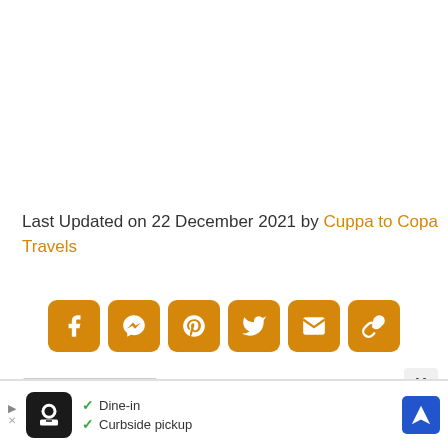Last Updated on 22 December 2021 by Cuppa to Copa Travels
[Figure (other): Social share buttons: Facebook, Messenger, Pinterest, Twitter, Email, Copy Link — all orange rounded square icons]
Party Destinations
[Figure (infographic): Advertisement banner: restaurant ad with logo, Dine-in checkmark, Curbside pickup checkmark, and blue navigation arrow icon]